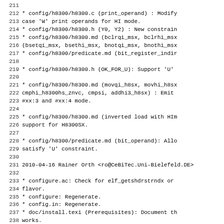211
212	* config/h8300/h8300.c (print_operand) : Modify
213	case 'W' print operands for HI mode.
214	* config/h8300/h8300.h (Y0, Y2) : New constrain
215	* config/h8300/h8300.md (bclrqi_msx, bclrhi_msx
216	(bsetqi_msx, bsethi_msx, bnotqi_msx, bnothi_msx
217	* config/h8300/predicate.md (bit_register_indir
218
219	* config/h8300/h8300.h (OK_FOR_U): Support 'U'
220
221	* config/h8300/h8300.md (movqi_h8sx, movhi_h8sx
222	cmphi_h8300hs_znvc, cmpsi, addhi3_h8sx) : Emit
223	#xx:3 and #xx:4 mode.
224
225	* config/h8300/h8300.md (inverted load with HIm
226	support for H8300SX.
227
228	* config/h8300/predicate.md (bit_operand): Allo
229	satisfy 'U' constraint.
230
231 2010-04-16  Rainer Orth  <ro@CeBiTec.Uni-Bielefeld.DE>
232
233	* configure.ac: Check for elf_getshdrstrndx or
234	flavor.
235	* configure: Regenerate.
236	* config.in: Regenerate.
237	* doc/install.texi (Prerequisites): Document th
238	works.
239
240 2010-04-16  Richard Guenther  <rguenther@suse.de>
241
242	* tree.h (struct tree_decl_minimal): Move pt_ui